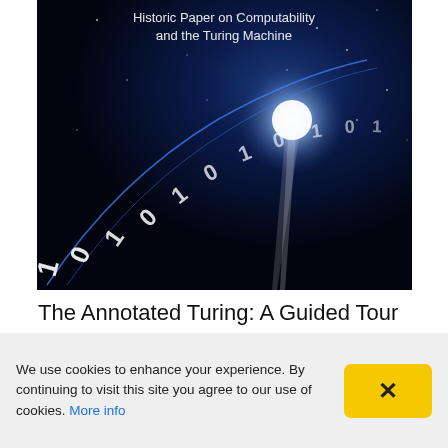[Figure (illustration): Book cover image of 'The Annotated Turing: A Guided Tour Through Alan Turing's Historic Paper on Computability and the Turing Machine'. Shows a dark blue cosmic background with a spiraling arc of binary digits (0s and 1s) in white/light blue, with a bright light source in the upper right area.]
The Annotated Turing: A Guided Tour Through Alan Turing's Historic Paper on Computability and the Turing
We use cookies to enhance your experience. By continuing to visit this site you agree to our use of cookies. More info